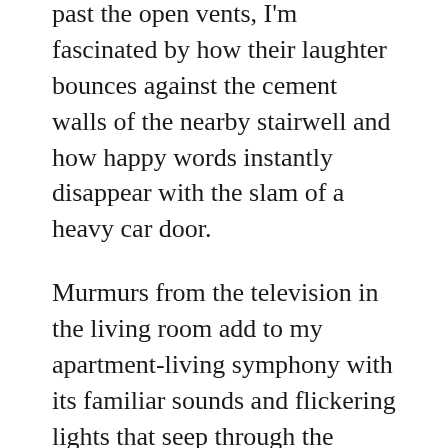past the open vents, I'm fascinated by how their laughter bounces against the cement walls of the nearby stairwell and how happy words instantly disappear with the slam of a heavy car door.
Murmurs from the television in the living room add to my apartment-living symphony with its familiar sounds and flickering lights that seep through the bottom of the door, casting short, cryptic shadows on the thickly carpeted, recently vacuumed floor.
Comforting is the knowledge that Papa is in his chair in the room next door. Feet up, arms folded high across his belly, and a large RC Cola at his side. Grinning at Clem Kadiddlehopper